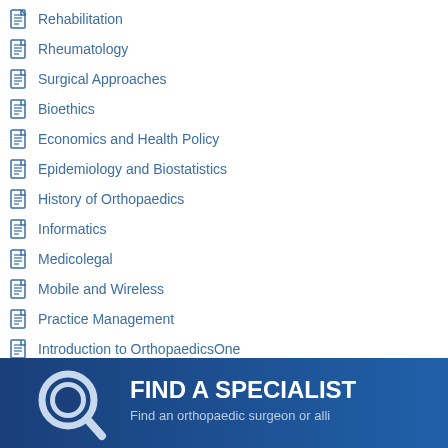Rehabilitation
Rheumatology
Surgical Approaches
Bioethics
Economics and Health Policy
Epidemiology and Biostatistics
History of Orthopaedics
Informatics
Medicolegal
Mobile and Wireless
Practice Management
Introduction to OrthopaedicsOne
Available Topics on OrthopaedicsOne
Subspecialty Theme Collections
Carl T. Brighton Workshops
CORR - Clinical Orthopaedics and Related Research
LACKMAN and NiTRoMel book
[Figure (infographic): Dark blue banner ad with magnifying glass icon, bold white text 'FIND A SPECIALIST', and subtext 'Find an orthopaedic surgeon or alli']